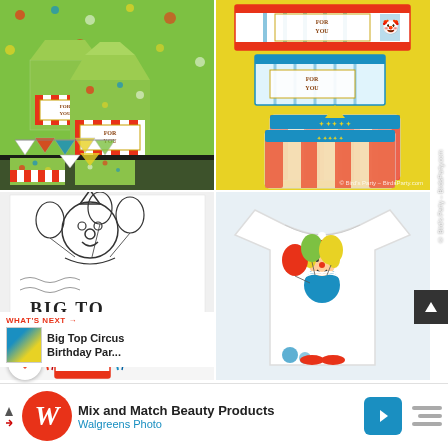[Figure (photo): Four-photo grid collage of circus/carnival party items. Top-left: green polka-dot favor boxes with red/white striped panels labeled FOR YOU. Top-right: yellow background with packaged circus tent cookies and FOR YOU treat bag toppers. Bottom-left: coloring page with circus clown drawing and red/blue ribbon decoration, with BIG TO text visible. Bottom-right: white t-shirt with embroidered circus clown holding colorful balloons.]
WHAT'S NEXT →
Big Top Circus Birthday Par...
© Bird's Party – BirdsParty.com
Mix and Match Beauty Products
Walgreens Photo